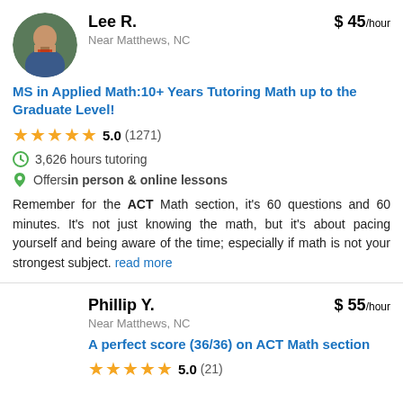[Figure (photo): Circular profile photo of Lee R., a young man in a suit jacket]
Lee R.
$ 45/hour
Near Matthews, NC
MS in Applied Math:10+ Years Tutoring Math up to the Graduate Level!
5.0 (1271)
3,626 hours tutoring
Offers in person & online lessons
Remember for the ACT Math section, it's 60 questions and 60 minutes. It's not just knowing the math, but it's about pacing yourself and being aware of the time; especially if math is not your strongest subject. read more
Phillip Y.
$ 55/hour
Near Matthews, NC
A perfect score (36/36) on ACT Math section
5.0 (21)